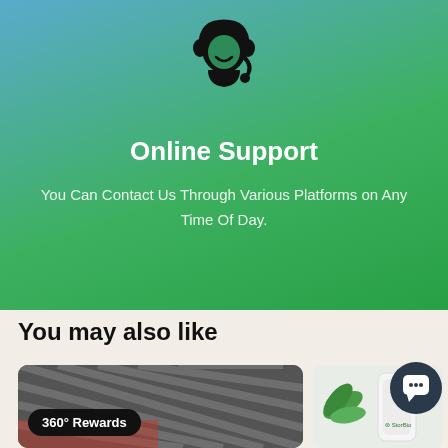[Figure (illustration): Customer support agent icon: black silhouette of a person wearing a headset, on a blue-to-green gradient background]
Online Support
You Can Contact Us Through Various Platforms on Any Time Of Day.
You may also like
[Figure (photo): Product thumbnail with a dark grid-texture background and a black pill-shaped badge reading '360° Rewards']
[Figure (photo): Product thumbnail showing a white air purifier device with a green plant leaf, branded with StorBio logo]